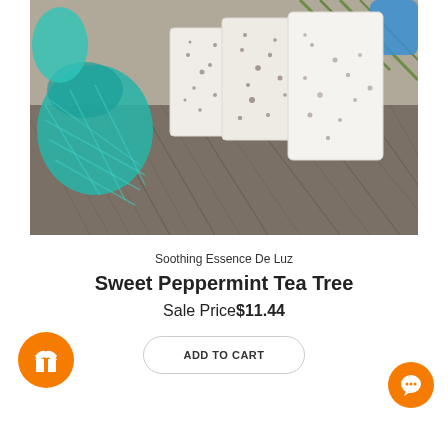[Figure (photo): Three rectangular white soap bars with dark speckles standing upright on a fuzzy gray fur surface, with a teal mesh bath sponge on the left and green herbs and a blue item in the background.]
Soothing Essence De Luz
Sweet Peppermint Tea Tree
Sale Price$11.44
ADD TO CART